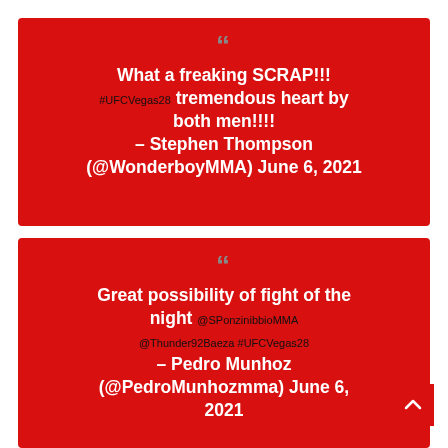" What a freaking SCRAP!!! #UFCVegas28 tremendous heart by both men!!!! — Stephen Thompson (@WonderboyMMA) June 6, 2021
" Great possibility of fight of the night @SPonzinibbioMMA @Thunder92Baeza #UFCVegas28 — Pedro Munhoz (@PedroMunhozmma) June 6, 2021